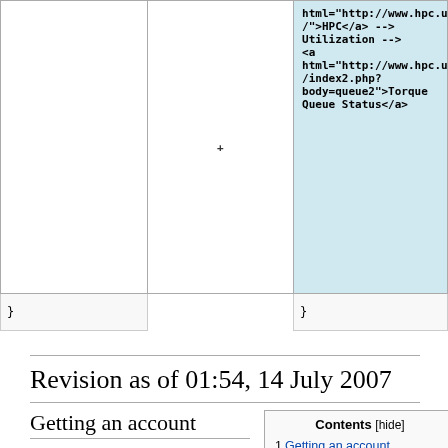| (left diff) | (right diff) |
| --- | --- |
|  | html="http://www.hpc.ufl.edu/">HPC</a> --> Utilization --> <a html="http://www.hpc.ufl.edu/index2.php?body=queue2">Torque Queue Status</a> |
| } | } |
Revision as of 01:54, 14 July 2007
Getting an account
To get an account at the UF HPC Center, you need to put a request in at our request page. That page is located here.
| Contents [hide] |
| --- |
| 1 Getting an account |
| 2 Logging In |
| 2.1 Linux / Unix |
| 2.2 Windows |
| 2.3 Passwords |
| 3 Looking Around |
Logging In
To login to the cluster, you need